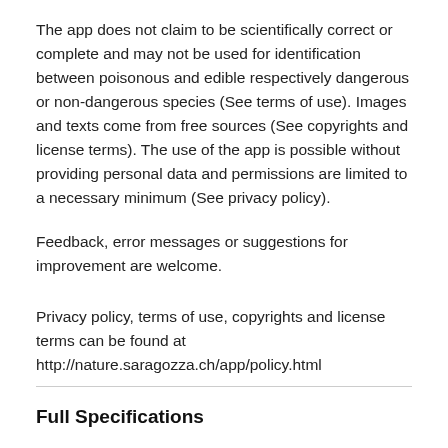The app does not claim to be scientifically correct or complete and may not be used for identification between poisonous and edible respectively dangerous or non-dangerous species (See terms of use). Images and texts come from free sources (See copyrights and license terms). The use of the app is possible without providing personal data and permissions are limited to a necessary minimum (See privacy policy).
Feedback, error messages or suggestions for improvement are welcome.
Privacy policy, terms of use, copyrights and license terms can be found at http://nature.saragozza.ch/app/policy.html
Full Specifications